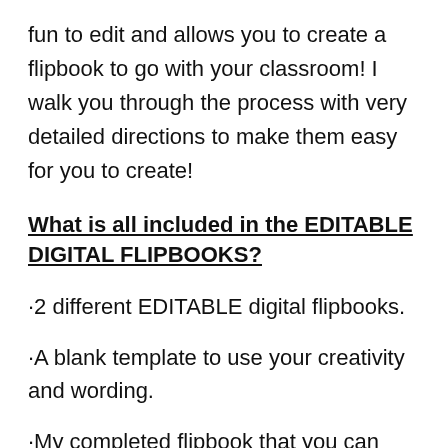fun to edit and allows you to create a flipbook to go with your classroom! I walk you through the process with very detailed directions to make them easy for you to create!
What is all included in the EDITABLE DIGITAL FLIPBOOKS?
·2 different EDITABLE digital flipbooks.
·A blank template to use your creativity and wording.
·My completed flipbook that you can use